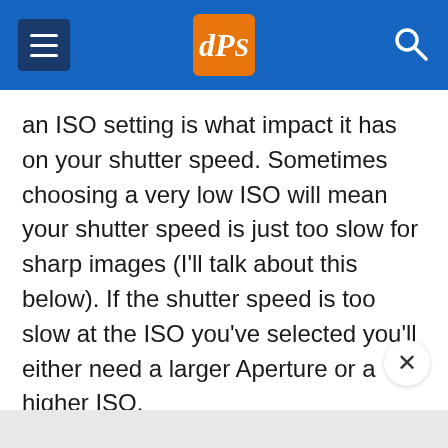dPS (digital Photography School) navigation header
an ISO setting is what impact it has on your shutter speed. Sometimes choosing a very low ISO will mean your shutter speed is just too slow for sharp images (I'll talk about this below). If the shutter speed is too slow at the ISO you've selected you'll either need a larger Aperture or a higher ISO.
Shutter Speed